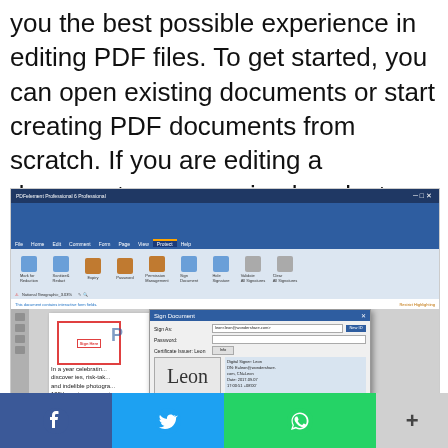you the best possible experience in editing PDF files. To get started, you can open existing documents or start creating PDF documents from scratch. If you are editing a document, you can simply select anything you want to edit and then use on-screen controls to make changes.
[Figure (screenshot): Screenshot of a PDF editor application (PDFelement or similar) showing the Sign Document dialog with a signature preview showing 'Leon' and digital signature details. The interface shows the ribbon toolbar, document area with a 'Sign Here' placeholder, and a modal dialog with signature fields.]
[Figure (infographic): Social sharing bar at the bottom with Facebook (blue), Twitter (blue), WhatsApp (green) buttons with their icons, and a grey '+' more button.]